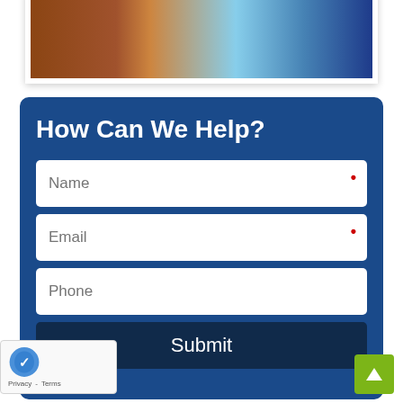[Figure (photo): Partial view of a room interior showing wood flooring and a blue wall, framed with a white border]
How Can We Help?
Name (required field)
Email (required field)
Phone
Submit
[Figure (logo): reCAPTCHA badge with Privacy and Terms links]